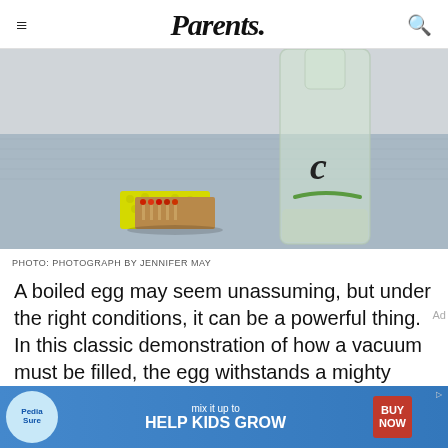Parents.
[Figure (photo): A matchbox with yellow polka-dot cover sitting open beside a clear glass bottle on a blue cloth surface. The bottle has a cursive letter 'c' and a green leaf design on it.]
PHOTO: PHOTOGRAPH BY JENNIFER MAY
A boiled egg may seem unassuming, but under the right conditions, it can be a powerful thing. In this classic demonstration of how a vacuum must be filled, the egg withstands a mighty force of
[Figure (screenshot): PediaSure advertisement banner: 'mix it up to HELP KIDS GROW' with BUY NOW button]